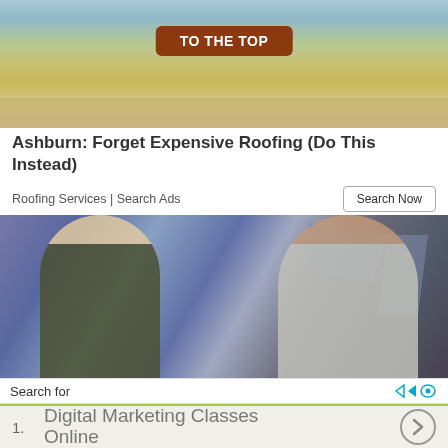[Figure (photo): Outdoor scene photo with blue sky and ground, showing legs/feet of people with a 'TO THE TOP' button overlay in dark red/brown]
Ashburn: Forget Expensive Roofing (Do This Instead)
Roofing Services | Search Ads
Search Now
[Figure (photo): Two young women eating ice cream or cupcakes in front of a colorful graffiti wall]
Search for
1.  Digital Marketing Classes Online